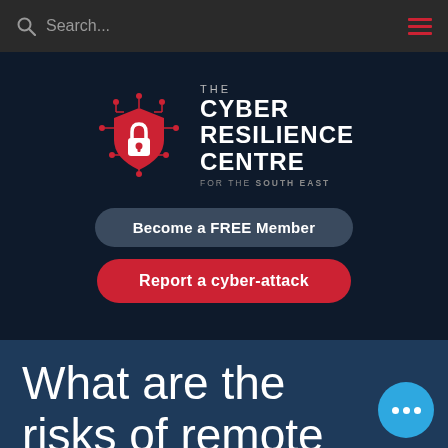Search...
[Figure (logo): The Cyber Resilience Centre for the South East logo with red shield/lock icon on dark navy background, with 'Become a FREE Member' and 'Report a cyber-attack' buttons]
What are the risks of remote working?